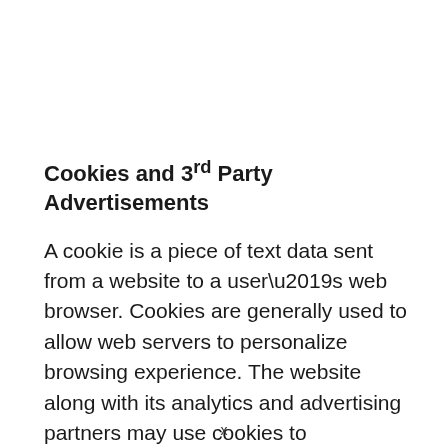Cookies and 3rd Party Advertisements
A cookie is a piece of text data sent from a website to a user’s web browser. Cookies are generally used to allow web servers to personalize browsing experience. The website along with its analytics and advertising partners may use cookies to